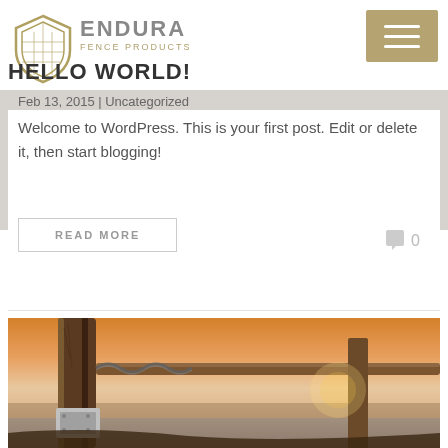[Figure (logo): Endura Fence Products logo with shield emblem]
[Figure (other): Hamburger menu button on tan/khaki background]
HELLO WORLD!
Feb 13, 2015 | Uncategorized
Welcome to WordPress. This is your first post. Edit or delete it, then start blogging!
READ MORE
0
[Figure (photo): Close-up photo of a wooden fence post with chain link at sunset/dusk, warm orange sky background]